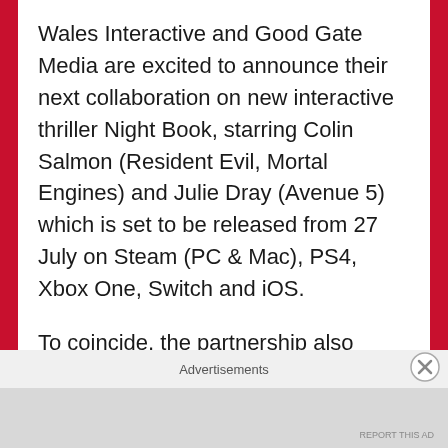Wales Interactive and Good Gate Media are excited to announce their next collaboration on new interactive thriller Night Book, starring Colin Salmon (Resident Evil, Mortal Engines) and Julie Dray (Avenue 5) which is set to be released from 27 July on Steam (PC & Mac), PS4, Xbox One, Switch and iOS.
To coincide, the partnership also launches new trailer and brand new demo for the highly anticipated fantasy action Deathtrap Dungeon: The Golden Room – which will be the first
Advertisements